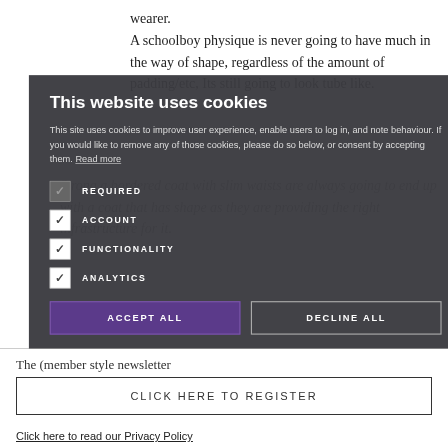wearer.
A schoolboy physique is never going to have much in the way of shape, regardless of the amount of padding/etc, Its still going to look tube like.
Strong a bordered coat with slim waists are always going to end up with a coat that has shape as they are providing the right infrastructure for it.
This website uses cookies
This site uses cookies to improve user experience, enable users to log in, and note behaviour. If you would like to remove any of those cookies, please do so below, or consent by accepting them. Read more
REQUIRED
ACCOUNT
FUNCTIONALITY
ANALYTICS
ACCEPT ALL
DECLINE ALL
The (member style newsletter
x
CLICK HERE TO REGISTER
Click here to read our Privacy Policy